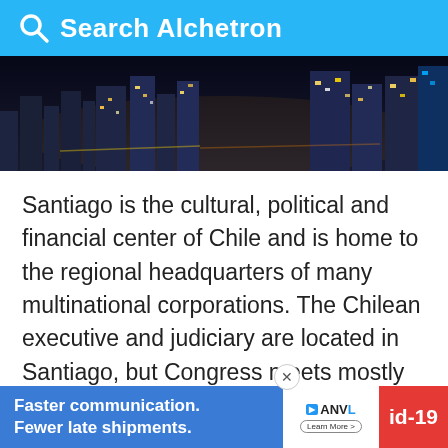Search Alchetron
[Figure (photo): Aerial night photo of Santiago city skyline with illuminated buildings and streets]
Santiago is the cultural, political and financial center of Chile and is home to the regional headquarters of many multinational corporations. The Chilean executive and judiciary are located in Santiago, but Congress meets mostly in nearby Valparaíso. Santiago is named after the biblical figure St. James. Santiago will host the 2023 Pan American Games.
Santiago de chile the best place to go in 20…
Faster communication. Fewer late shipments.